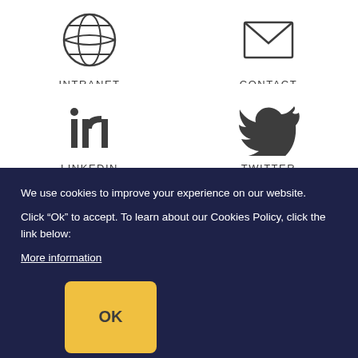[Figure (illustration): Globe/intranet icon - circle with grid lines]
INTRANET
[Figure (illustration): Envelope/contact icon]
CONTACT
[Figure (illustration): LinkedIn logo icon]
LINKEDIN
[Figure (illustration): Twitter bird icon]
TWITTER
We use cookies to improve your experience on our website.
Click “Ok” to accept. To learn about our Cookies Policy, click the link below:
More information
OK